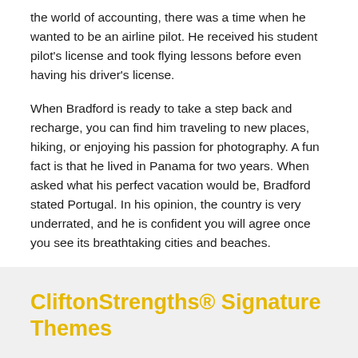the world of accounting, there was a time when he wanted to be an airline pilot. He received his student pilot's license and took flying lessons before even having his driver's license.
When Bradford is ready to take a step back and recharge, you can find him traveling to new places, hiking, or enjoying his passion for photography. A fun fact is that he lived in Panama for two years. When asked what his perfect vacation would be, Bradford stated Portugal. In his opinion, the country is very underrated, and he is confident you will agree once you see its breathtaking cities and beaches.
CliftonStrengths® Signature Themes